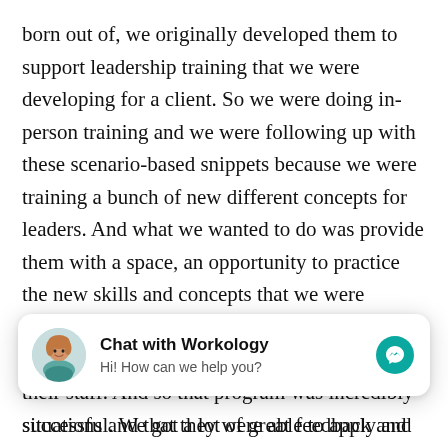born out of, we originally developed them to support leadership training that we were developing for a client. So we were doing in-person training and we were following up with these scenario-based snippets because we were training a bunch of new different concepts for leaders. And what we wanted to do was provide them with a space, an opportunity to practice the new skills and concepts that we were working on before they were actually, you know, having to face these in real life with with their staff. And so that program was incredibly successful. We got a lot of great feedback and
[Figure (other): Chat widget overlay showing a woman's avatar photo, bold title 'Chat with Workology', subtitle 'Hi! How can we help you?', and a teal Messenger icon button on the right.]
situations and that they were able to apply and